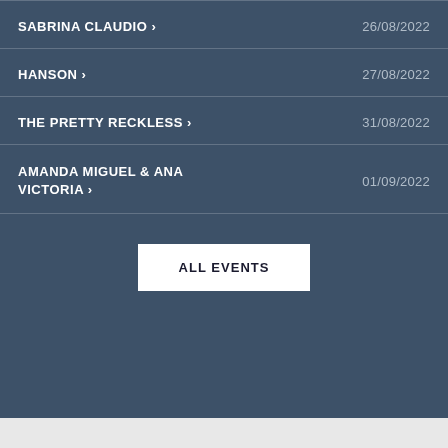SABRINA CLAUDIO > | 26/08/2022
HANSON > | 27/08/2022
THE PRETTY RECKLESS > | 31/08/2022
AMANDA MIGUEL & ANA VICTORIA > | 01/09/2022
ALL EVENTS